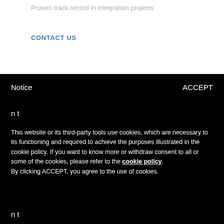Proven track record in integration projects
CONTACT US
Notice
ACCEPT
n t
This website or its third-party tools use cookies, which are necessary to its functioning and required to achieve the purposes illustrated in the cookie policy. If you want to know more or withdraw consent to all or some of the cookies, please refer to the cookie policy. By clicking ACCEPT, you agree to the use of cookies.
n t